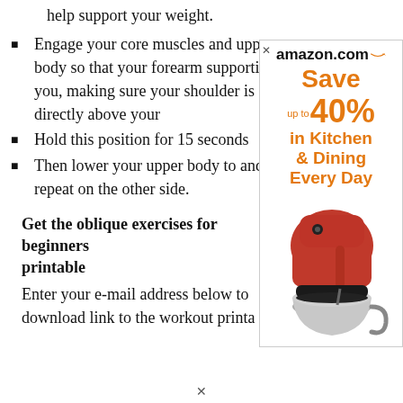help support your weight.
Engage your core muscles and upper body so that your forearm supporting you, making sure your shoulder is directly above your
Hold this position for 15 seconds
Then lower your upper body to and repeat on the other side.
Get the oblique exercises for beginners printable
Enter your e-mail address below to download link to the workout printa
[Figure (advertisement): Amazon.com advertisement showing 'Save up to 40% in Kitchen & Dining Every Day' with a red KitchenAid stand mixer image]